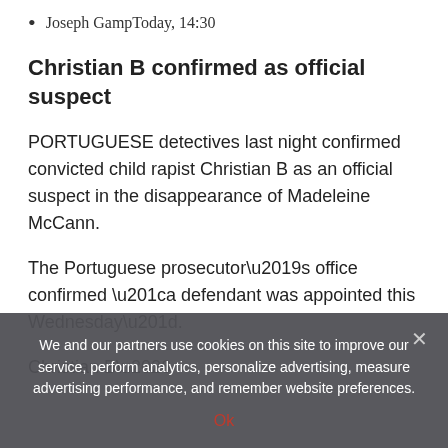Joseph GampToday, 14:30
Christian B confirmed as official suspect
PORTUGUESE detectives last night confirmed convicted child rapist Christian B as an official suspect in the disappearance of Madeleine McCann.
The Portuguese prosecutor’s office confirmed “a defendant was appointed this Wednesday”.
Christian B… (partial, cut off)
We and our partners use cookies on this site to improve our service, perform analytics, personalize advertising, measure advertising performance, and remember website preferences.